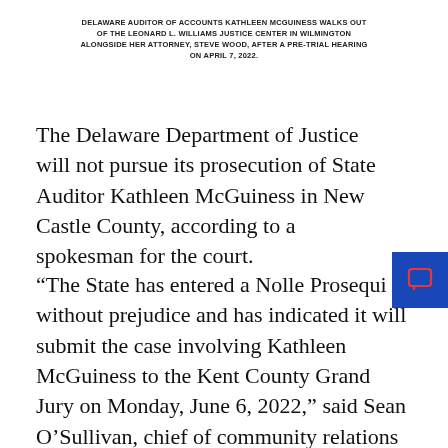DELAWARE AUDITOR OF ACCOUNTS KATHLEEN MCGUINESS WALKS OUT OF THE LEONARD L. WILLIAMS JUSTICE CENTER IN WILMINGTON ALONGSIDE HER ATTORNEY, STEVE WOOD, AFTER A PRE-TRIAL HEARING ON APRIL 7, 2022.
The Delaware Department of Justice will not pursue its prosecution of State Auditor Kathleen McGuiness in New Castle County, according to a spokesman for the court.
“The State has entered a Nolle Prosequi without prejudice and has indicated it will submit the case involving Kathleen McGuiness to the Kent County Grand Jury on Monday, June 6, 2022,” said Sean O’Sullivan, chief of community relations for Delaware Courts.